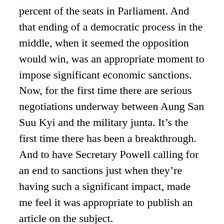percent of the seats in Parliament. And that ending of a democratic process in the middle, when it seemed the opposition would win, was an appropriate moment to impose significant economic sanctions. Now, for the first time there are serious negotiations underway between Aung San Suu Kyi and the military junta. It’s the first time there has been a breakthrough. And to have Secretary Powell calling for an end to sanctions just when they’re having such a significant impact, made me feel it was appropriate to publish an article on the subject.
PORTER: You talk about tying specific actions to specific behaviors.
NEIER: Yes.
PORTER: And the term that you hear often is